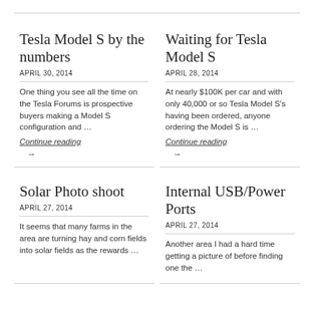Tesla Model S by the numbers
APRIL 30, 2014
One thing you see all the time on the Tesla Forums is prospective buyers making a Model S configuration and …
Continue reading
Waiting for Tesla Model S
APRIL 28, 2014
At nearly $100K per car and with only 40,000 or so Tesla Model S's having been ordered, anyone ordering the Model S is …
Continue reading
Solar Photo shoot
APRIL 27, 2014
It seems that many farms in the area are turning hay and corn fields into solar fields as the rewards …
Internal USB/Power Ports
APRIL 27, 2014
Another area I had a hard time getting a picture of before finding one the …